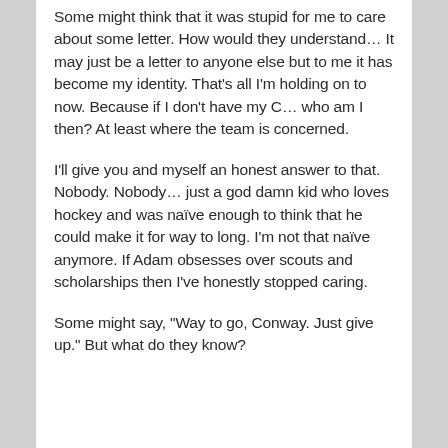Some might think that it was stupid for me to care about some letter. How would they understand… It may just be a letter to anyone else but to me it has become my identity. That's all I'm holding on to now. Because if I don't have my C… who am I then? At least where the team is concerned.
I'll give you and myself an honest answer to that. Nobody. Nobody… just a god damn kid who loves hockey and was naïve enough to think that he could make it for way to long. I'm not that naïve anymore. If Adam obsesses over scouts and scholarships then I've honestly stopped caring.
Some might say, "Way to go, Conway. Just give up." But what do they know?